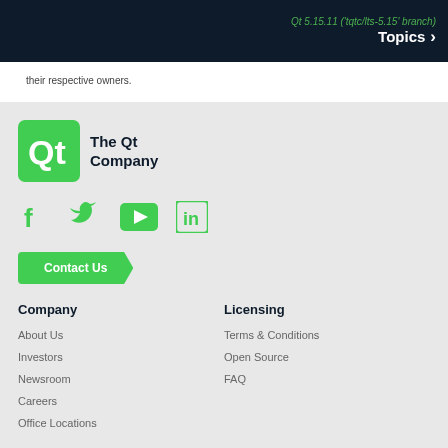Qt 5.15.11 ('tqtc/lts-5.15' branch) Topics
their respective owners.
[Figure (logo): The Qt Company logo — green rounded square with Qt text, next to 'The Qt Company' text]
[Figure (infographic): Social media icons: Facebook, Twitter, YouTube, LinkedIn — all in green]
Contact Us
Company
Licensing
About Us
Terms & Conditions
Investors
Open Source
Newsroom
FAQ
Careers
Office Locations